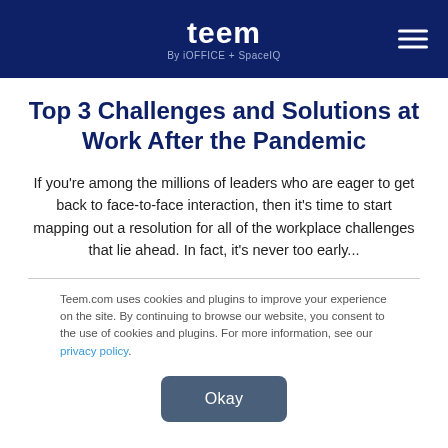teem By iOFFICE + SpaceIQ
Top 3 Challenges and Solutions at Work After the Pandemic
If you're among the millions of leaders who are eager to get back to face-to-face interaction, then it's time to start mapping out a resolution for all of the workplace challenges that lie ahead. In fact, it's never too early...
Teem.com uses cookies and plugins to improve your experience on the site. By continuing to browse our website, you consent to the use of cookies and plugins. For more information, see our privacy policy.
Okay